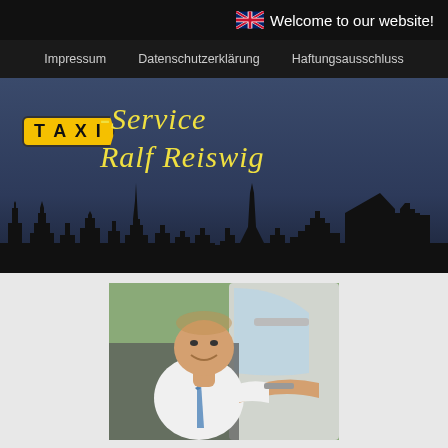Welcome to our website!
Impressum   Datenschutzerklärung   Haftungsausschluss
[Figure (illustration): Taxi-Service Ralf Reiswig banner with Hamburg city skyline silhouette on dark blue background. Yellow TAXI sign badge with black text on left, yellow italic script text reading '-Service' and 'Ralf Reiswig'. City skyline silhouette in black at bottom including church spire, TV tower, and cable-stayed bridge.]
[Figure (photo): Photo of a man (Ralf Reiswig) sitting in a car, smiling, wearing a white shirt and striped tie, resting his arm on the open car window. Green foliage visible in background.]